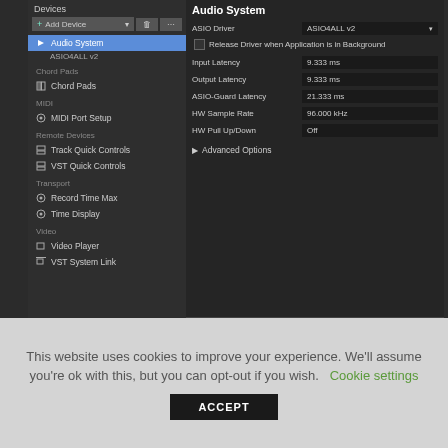[Figure (screenshot): Screenshot of a DAW (Cubase/Nuendo) audio device settings panel showing left navigation tree with Devices including Audio System (selected), ASIO4ALL v2, Chord Pads, MIDI Port Setup, Remote Devices (Track Quick Controls, VST Quick Controls), Transport (Record Time Max, Time Display), Video (Video Player, VST System Link). Right panel shows Audio System settings: ASIO Driver ASIO4ALL v2, Release Driver when Application is in Background checkbox, Input Latency 9.333 ms, Output Latency 9.333 ms, ASIO-Guard Latency 21.333 ms, HW Sample Rate 96.000 kHz, HW Pull Up/Down Off, and Advanced Options.]
This website uses cookies to improve your experience. We'll assume you're ok with this, but you can opt-out if you wish.  Cookie settings
ACCEPT